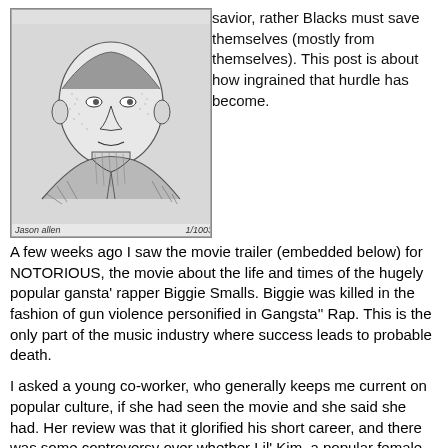[Figure (illustration): Black and white stippled/crosshatch portrait illustration of a man, with a signature at the bottom left and a number at the bottom right.]
savior, rather Blacks must save themselves (mostly from themselves). This post is about how ingrained that hurdle has become.
A few weeks ago I saw the movie trailer (embedded below) for NOTORIOUS, the movie about the life and times of the hugely popular gansta' rapper Biggie Smalls. Biggie was killed in the fashion of gun violence personified in Gangsta'' Rap. This is the only part of the music industry where success leads to probable death.
I asked a young co-worker, who generally keeps me current on popular culture, if she had seen the movie and she said she had. Her review was that it glorified his short career, and there was some controversy over whether Lil' Kim, a popular female gangsta'' rapper, got her full due as Biggie's love